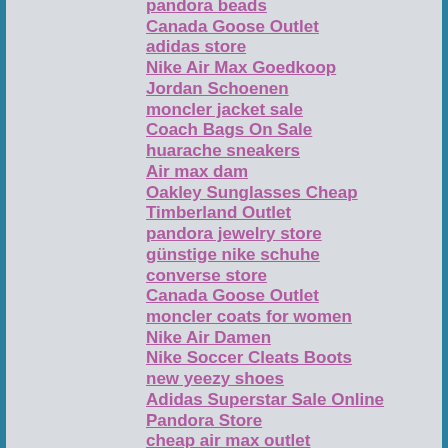pandora beads
Canada Goose Outlet
adidas store
Nike Air Max Goedkoop
Jordan Schoenen
moncler jacket sale
Coach Bags On Sale
huarache sneakers
Air max dam
Oakley Sunglasses Cheap
Timberland Outlet
pandora jewelry store
günstige nike schuhe
converse store
Canada Goose Outlet
moncler coats for women
Nike Air Damen
Nike Soccer Cleats Boots
new yeezy shoes
Adidas Superstar Sale Online
Pandora Store
cheap air max outlet
Nike Air Sneakers
retro jordans for cheap
Pandora Official Website
Boutique Ugg
Air Max Kopen
zapatilla adidas
Ray Ban Sunglasses Online